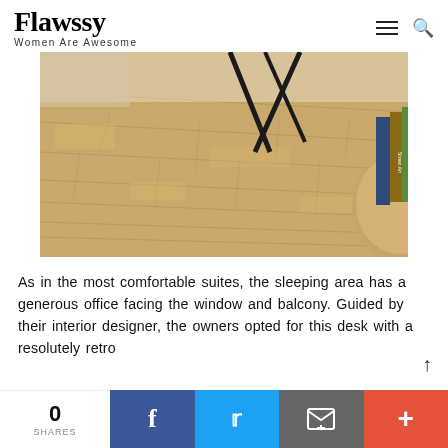Flawssy – Women Are Awesome
[Figure (photo): Interior photo showing a room with wide-plank light oak hardwood flooring, black metal table legs visible, and a round wooden side table with books including 'Street Art' on the right edge.]
As in the most comfortable suites, the sleeping area has a generous office facing the window and balcony. Guided by their interior designer, the owners opted for this desk with a resolutely retro
0 SHARES | Facebook share | Twitter share | Email share | More (+)